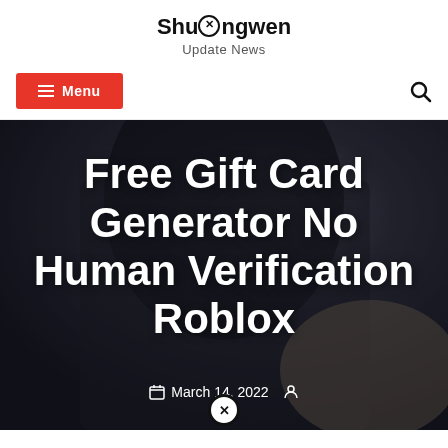Shuangwen Update News
Free Gift Card Generator No Human Verification Roblox
March 14, 2022